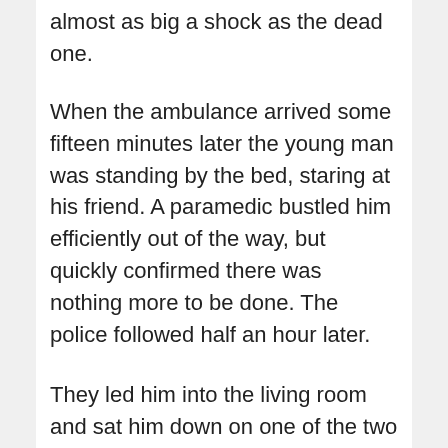almost as big a shock as the dead one.
When the ambulance arrived some fifteen minutes later the young man was standing by the bed, staring at his friend. A paramedic bustled him efficiently out of the way, but quickly confirmed there was nothing more to be done. The police followed half an hour later.
They led him into the living room and sat him down on one of the two sofas. He was given a glass of water while official-looking activity went on all around. He told the police his name was Matt Jones and identified the dead body as his friend, Smith.
Dan, having given his name and address, and